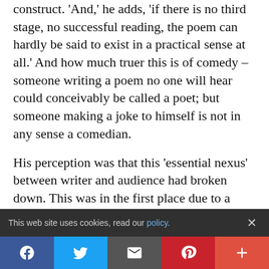construct. 'And,' he adds, 'if there is no third stage, no successful reading, the poem can hardly be said to exist in a practical sense at all.' And how much truer this is of comedy – someone writing a poem no one will hear could conceivably be called a poet; but someone making a joke to himself is not in any sense a comedian.
His perception was that this 'essential nexus' between writer and audience had broken down. This was in the first place due to a growth in the influence of criticism, the fact that there were now 'experts' who mediated between the artist and the...
This web site uses cookies, read our policy.